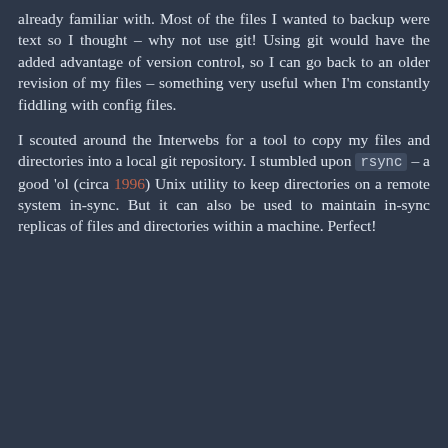already familiar with. Most of the files I wanted to backup were text so I thought – why not use git! Using git would have the added advantage of version control, so I can go back to an older revision of my files – something very useful when I'm constantly fiddling with config files.
I scouted around the Interwebs for a tool to copy my files and directories into a local git repository. I stumbled upon rsync – a good 'ol (circa 1996) Unix utility to keep directories on a remote system in-sync. But it can also be used to maintain in-sync replicas of files and directories within a machine. Perfect!